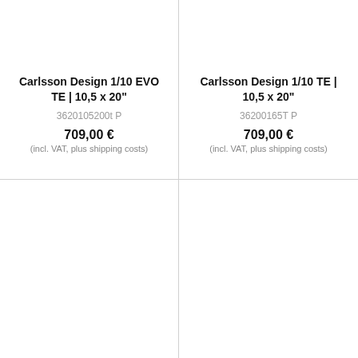Carlsson Design 1/10 EVO TE | 10,5 x 20"
3620105200t P
709,00 €
(incl. VAT, plus shipping costs)
Carlsson Design 1/10 TE | 10,5 x 20"
36200165T P
709,00 €
(incl. VAT, plus shipping costs)